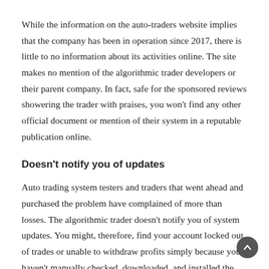While the information on the auto-traders website implies that the company has been in operation since 2017, there is little to no information about its activities online. The site makes no mention of the algorithmic trader developers or their parent company. In fact, safe for the sponsored reviews showering the trader with praises, you won't find any other official document or mention of their system in a reputable publication online.
Doesn't notify you of updates
Auto trading system testers and traders that went ahead and purchased the problem have complained of more than losses. The algorithmic trader doesn't notify you of system updates. You might, therefore, find your account locked out of trades or unable to withdraw profits simply because you haven't manually checked, downloaded, and installed the updated version of the